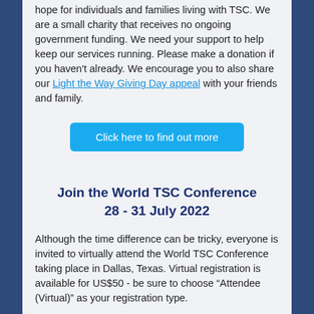hope for individuals and families living with TSC. We are a small charity that receives no ongoing government funding. We need your support to help keep our services running. Please make a donation if you haven't already. We encourage you to also share our Light the Way Giving Day appeal with your friends and family.
Click here to find out more
Join the World TSC Conference
28 - 31 July 2022
Although the time difference can be tricky, everyone is invited to virtually attend the World TSC Conference taking place in Dallas, Texas. Virtual registration is available for US$50 - be sure to choose “Attendee (Virtual)” as your registration type.
More information
Research Round Up